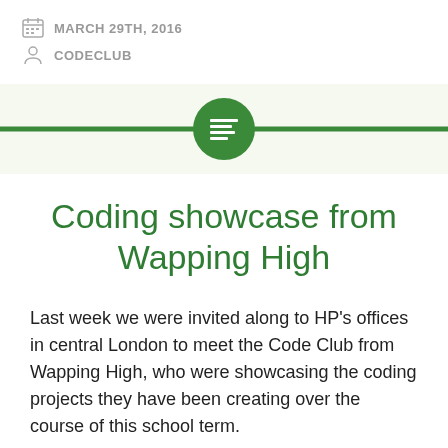MARCH 29TH, 2016
CODECLUB
[Figure (illustration): Green horizontal divider bar with a green circle icon containing a text/lines symbol in the center, on a light green background]
Coding showcase from Wapping High
Last week we were invited along to HP’s offices in central London to meet the Code Club from Wapping High, who were showcasing the coding projects they have been creating over the course of this school term.